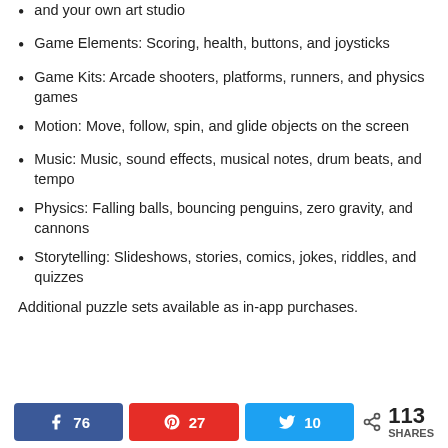and your own art studio
Game Elements: Scoring, health, buttons, and joysticks
Game Kits: Arcade shooters, platforms, runners, and physics games
Motion: Move, follow, spin, and glide objects on the screen
Music: Music, sound effects, musical notes, drum beats, and tempo
Physics: Falling balls, bouncing penguins, zero gravity, and cannons
Storytelling: Slideshows, stories, comics, jokes, riddles, and quizzes
Additional puzzle sets available as in-app purchases.